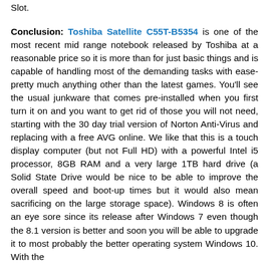Slot.
Conclusion: Toshiba Satellite C55T-B5354 is one of the most recent mid range notebook released by Toshiba at a reasonable price so it is more than for just basic things and is capable of handling most of the demanding tasks with ease- pretty much anything other than the latest games. You'll see the usual junkware that comes pre-installed when you first turn it on and you want to get rid of those you will not need, starting with the 30 day trial version of Norton Anti-Virus and replacing with a free AVG online. We like that this is a touch display computer (but not Full HD) with a powerful Intel i5 processor, 8GB RAM and a very large 1TB hard drive (a Solid State Drive would be nice to be able to improve the overall speed and boot-up times but it would also mean sacrificing on the large storage space). Windows 8 is often an eye sore since its release after Windows 7 even though the 8.1 version is better and soon you will be able to upgrade it to most probably the better operating system Windows 10. With the